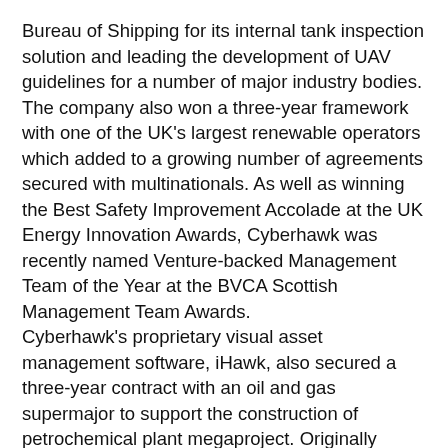Bureau of Shipping for its internal tank inspection solution and leading the development of UAV guidelines for a number of major industry bodies. The company also won a three-year framework with one of the UK's largest renewable operators which added to a growing number of agreements secured with multinationals. As well as winning the Best Safety Improvement Accolade at the UK Energy Innovation Awards, Cyberhawk was recently named Venture-backed Management Team of the Year at the BVCA Scottish Management Team Awards. Cyberhawk's proprietary visual asset management software, iHawk, also secured a three-year contract with an oil and gas supermajor to support the construction of petrochemical plant megaproject. Originally developed for asset integrity management, iHawk hosts visual asset data and engineering analysis in the cloud and supports inspection engineers to make evidence-based, critical asset decisions, prioritise maintenance activities and view a complete picture of their asset. Based on client demand, the software has